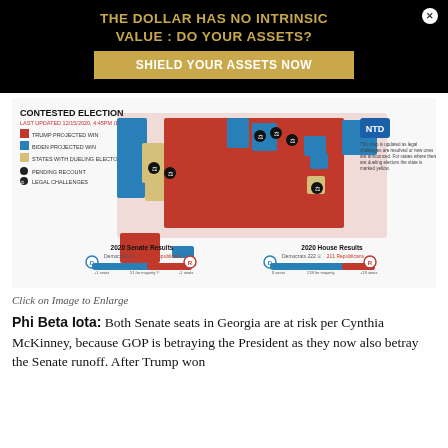[Figure (infographic): Black banner advertisement: 'THE DOLLAR HAS NO INTRINSIC VALUE : DO YOUR ASSETS?' with gold button 'SHIELD YOUR ASSETS NOW' and close button]
[Figure (map): US 2020 Contested Election map showing Trump projected wins (red), Biden projected wins (blue), states with dueling electors (tan/yellow), pending recount and legal challenges markers. Includes 2020 Senate Results and 2020 House Results bar charts. NTD logo visible. Last updated 12/15/2020, 4:45PM ET.]
Click on Image to Enlarge
Phi Beta Iota: Both Senate seats in Georgia are at risk per Cynthia McKinney, because GOP is betraying the President as they now also betray the Senate runoff. After Trump won...